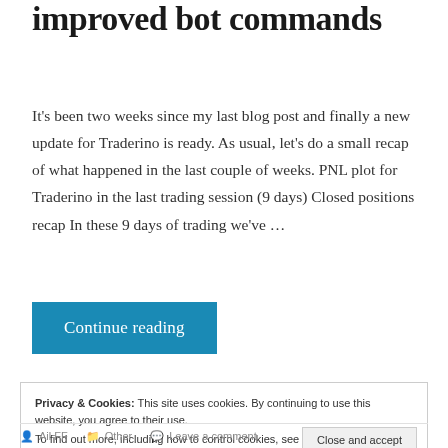improved bot commands
It's been two weeks since my last blog post and finally a new update for Traderino is ready. As usual, let's do a small recap of what happened in the last couple of weeks. PNL plot for Traderino in the last trading session (9 days) Closed positions recap In these 9 days of trading we've …
Continue reading
Privacy & Cookies: This site uses cookies. By continuing to use this website, you agree to their use. To find out more, including how to control cookies, see here: Cookie Policy
Close and accept
Ail FF   Other   Leave a comment